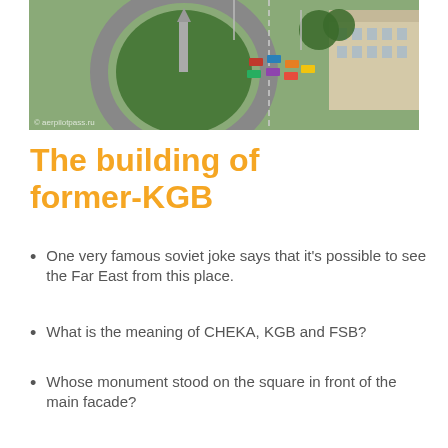[Figure (photo): Aerial view of a roundabout/plaza with green circular area, cars on roads, and surrounding buildings including a large building to the right with trees.]
The building of former-KGB
One very famous soviet joke says that it's possible to see the Far East from this place.
What is the meaning of CHEKA, KGB and FSB?
Whose monument stood on the square in front of the main facade?
What is the history of the name of Lubianskaya square?